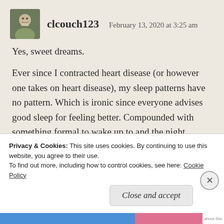clcouch123   February 13, 2020 at 3:25 am
Yes, sweet dreams.
Ever since I contracted heart disease (or however one takes on heart disease), my sleep patterns have no pattern. Which is ironic since everyone advises good sleep for feeling better. Compounded with something formal to wake up to and the night becomes long and sleepless. Ready to sleep
Privacy & Cookies: This site uses cookies. By continuing to use this website, you agree to their use.
To find out more, including how to control cookies, see here: Cookie Policy
Close and accept